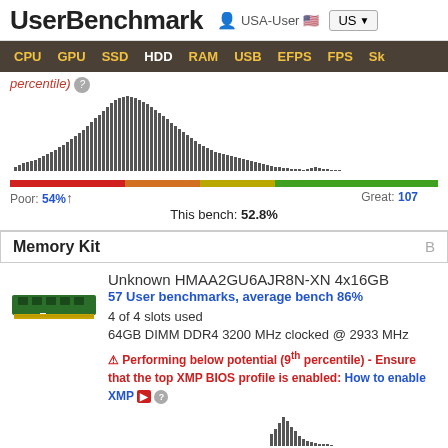UserBenchmark | USA-User | US
CPU GPU SSD HDD RAM USB EFPS FPS Sk
percentile)
[Figure (histogram): Bar histogram showing benchmark score distribution. Bars increase in height toward center-right then decrease.]
Poor: 54% Great: 107
This bench: 52.8%
Memory Kit | B
[Figure (photo): Green RAM DIMM memory module]
Unknown HMAA2GU6AJR8N-XN 4x16GB
57 User benchmarks, average bench 86%
4 of 4 slots used
64GB DIMM DDR4 3200 MHz clocked @ 2933 MHz
⚠ Performing below potential (9th percentile) - Ensure that the top XMP BIOS profile is enabled: How to enable XMP
[Figure (histogram): Partial histogram with bars visible at bottom of page.]